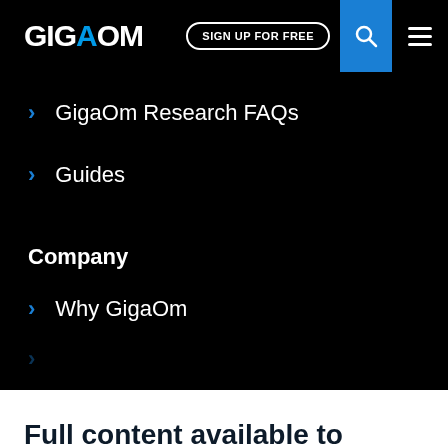GIGAOM | SIGN UP FOR FREE
GigaOm Research FAQs
Guides
Company
Why GigaOm
Full content available to GigaOm Subscribers.
SIGN UP FOR FREE